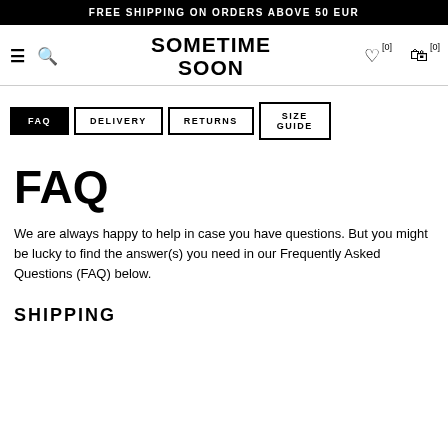FREE SHIPPING ON ORDERS ABOVE 50 EUR
SOMETIME SOON
FAQ   DELIVERY   RETURNS   SIZE GUIDE
FAQ
We are always happy to help in case you have questions. But you might be lucky to find the answer(s) you need in our Frequently Asked Questions (FAQ) below.
SHIPPING